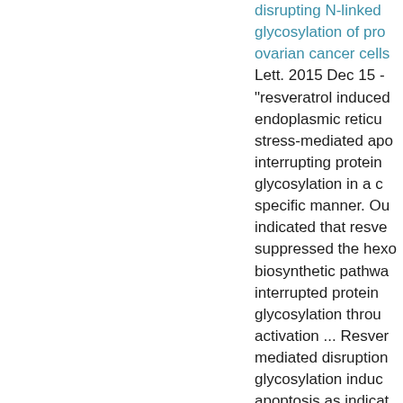disrupting N-linked glycosylation of proteins in ovarian cancer cells. Cancer Lett. 2015 Dec 15 - "resveratrol induced endoplasmic reticulum stress-mediated apoptosis by interrupting protein glycosylation in a cell-specific manner. Our data indicated that resveratrol suppressed the hexosamine biosynthetic pathway and interrupted protein glycosylation through AMPK activation ... Resveratrol-mediated disruption of glycosylation induced apoptosis as indicated by up-regulation of GADD34, followed by the activation of ER-stress sensors (IRE1, ATF6α). Thus, our results provide novel insights into cancer cell metabolism and...